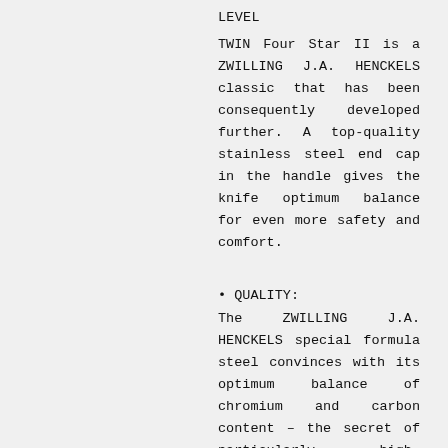LEVEL
TWIN Four Star II is a ZWILLING J.A. HENCKELS classic that has been consequently developed further. A top-quality stainless steel end cap in the handle gives the knife optimum balance for even more safety and comfort.
• QUALITY:
The ZWILLING J.A. HENCKELS special formula steel convinces with its optimum balance of chromium and carbon content – the secret of particularly high-quality steel. FRIODUR branded knives have been ice-hardened to enhance their quality. They have exceptional cutting properties, are especially